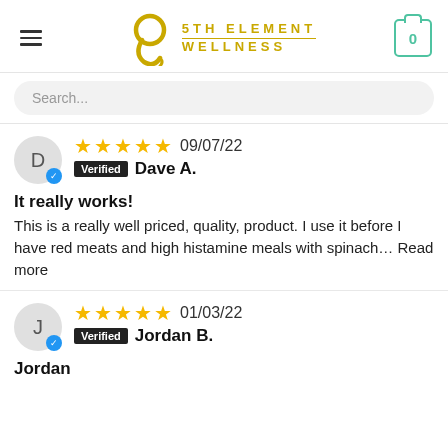5TH ELEMENT WELLNESS
Search...
★★★★★ 09/07/22 Verified Dave A.
It really works!
This is a really well priced, quality, product. I use it before I have red meats and high histamine meals with spinach… Read more
★★★★★ 01/03/22 Verified Jordan B.
Jordan